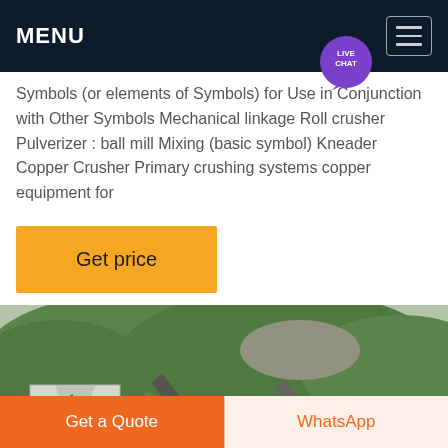MENU
Symbols (or elements of Symbols) for Use in Conjunction with Other Symbols Mechanical linkage Roll crusher Pulverizer : ball mill Mixing (basic symbol) Kneader Copper Crusher Primary crushing systems copper equipment for
Get price
[Figure (photo): Industrial crushing/mining facility with conveyor belts, hoppers, and machinery against a green hillside background]
Get a Quote
WhatsApp